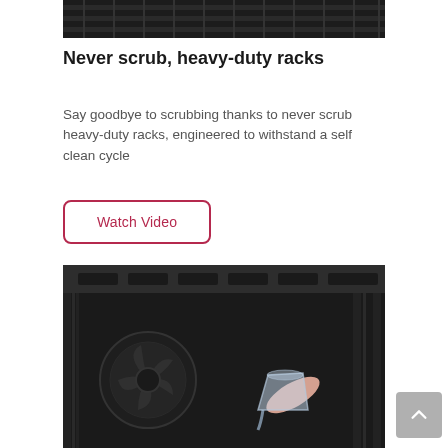[Figure (photo): Close-up of oven racks with dark grill texture, top portion cropped]
Never scrub, heavy-duty racks
Say goodbye to scrubbing thanks to never scrub heavy-duty racks, engineered to withstand a self clean cycle
[Figure (other): Watch Video button with crimson border and text]
[Figure (photo): Interior of oven showing fan assembly on back wall and a hand pouring water from a glass pitcher, dark metal interior]